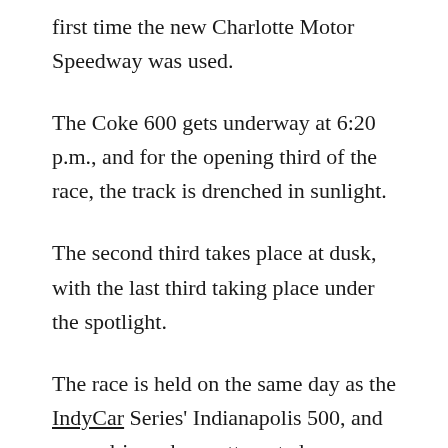first time the new Charlotte Motor Speedway was used.
The Coke 600 gets underway at 6:20 p.m., and for the opening third of the race, the track is drenched in sunlight.
The second third takes place at dusk, with the last third taking place under the spotlight.
The race is held on the same day as the IndyCar Series' Indianapolis 500, and some drivers have attempted or completed Double Duty by competing in both races.